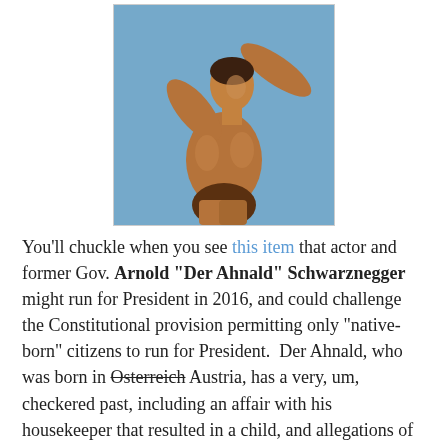[Figure (photo): Bodybuilder posing, muscular figure against blue background, raising one arm in a victory pose]
You'll chuckle when you see this item that actor and former Gov. Arnold "Der Ahnald" Schwarznegger might run for President in 2016, and could challenge the Constitutional provision permitting only "native-born" citizens to run for President.  Der Ahnald, who was born in Osterreich Austria, has a very, um, checkered past, including an affair with his housekeeper that resulted in a child, and allegations of sexual misconduct throughout his bodybuilding and film career.  His autobiography also presents some problems for Der Ahnald, including his admiration for Hitler's oratory. (That might help him with the teabaggers).
We doubt anyone outside of Der Ahnald's posse takes this